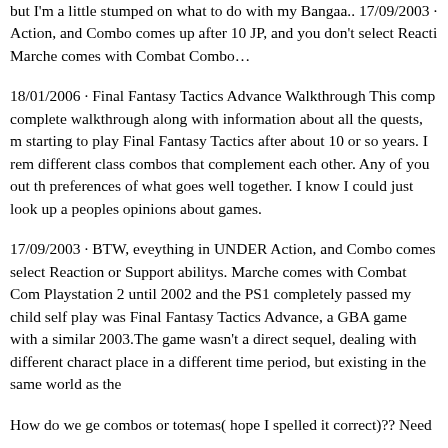but I'm a little stumped on what to do with my Bangaa.. 17/09/2003 · Action, and Combo comes up after 10 JP, and you don't select Reaction. Marche comes with Combat Combo…
18/01/2006 · Final Fantasy Tactics Advance Walkthrough This comp complete walkthrough along with information about all the quests, m starting to play Final Fantasy Tactics after about 10 or so years. I rem different class combos that complement each other. Any of you out th preferences of what goes well together. I know I could just look up a peoples opinions about games.
17/09/2003 · BTW, eveything in UNDER Action, and Combo comes select Reaction or Support abilitys. Marche comes with Combat Com Playstation 2 until 2002 and the PS1 completely passed my child self play was Final Fantasy Tactics Advance, a GBA game with a similar 2003.The game wasn't a direct sequel, dealing with different charact place in a different time period, but existing in the same world as the
How do we ge combos or totemas( hope I spelled it correct)?? Need